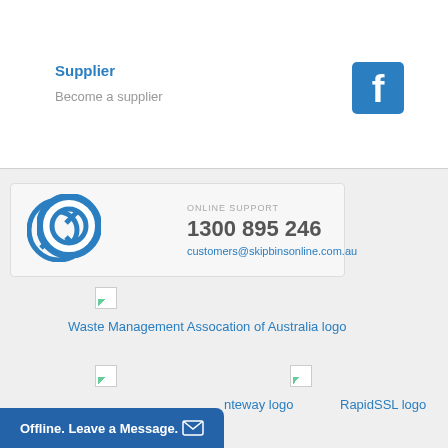Supplier
Become a supplier
[Figure (logo): Facebook logo — blue square with white 'f']
[Figure (infographic): Online support box with life-preserver ring icon, phone number 1300 895 246, and email customers@skipbinsonline.com.au]
[Figure (logo): Waste Management Association of Australia logo (broken image placeholder)]
Waste Management Assocation of Australia logo
[Figure (logo): Payment gateway logo (broken image placeholder)]
nteway logo
[Figure (logo): RapidSSL logo (broken image placeholder)]
RapidSSL logo
Offline. Leave a Message.